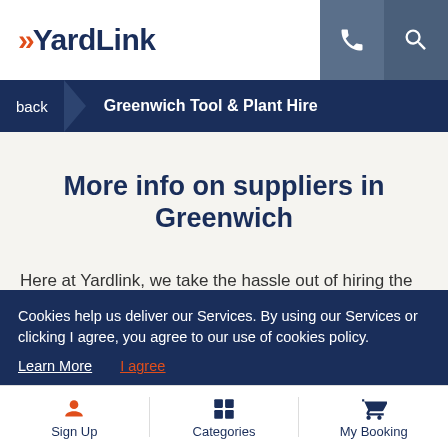YardLink
Greenwich Tool & Plant Hire
More info on suppliers in Greenwich
Here at Yardlink, we take the hassle out of hiring the tools you need. We have various delivery options, and
Cookies help us deliver our Services. By using our Services or clicking I agree, you agree to our use of cookies policy. Learn More  I agree
Sign Up  Categories  My Booking